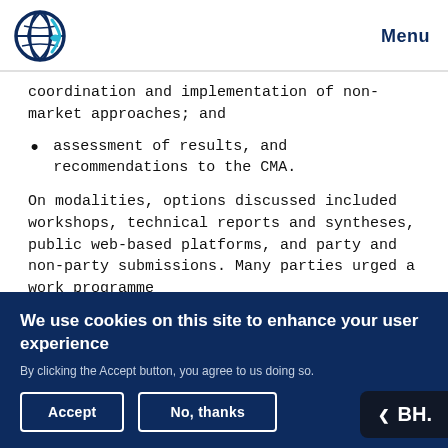Menu
coordination and implementation of non-market approaches; and
assessment of results, and recommendations to the CMA.
On modalities, options discussed included workshops, technical reports and syntheses, public web-based platforms, and party and non-party submissions. Many parties urged a work programme
We use cookies on this site to enhance your user experience
By clicking the Accept button, you agree to us doing so.